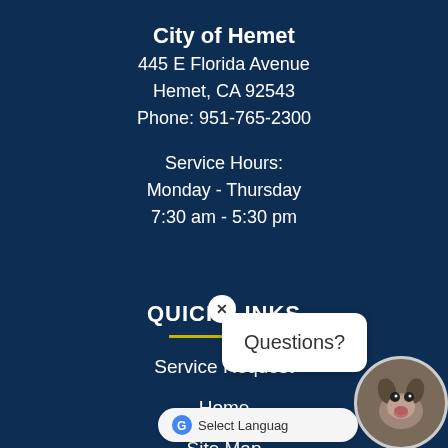City of Hemet
445 E Florida Avenue
Hemet, CA 92543
Phone: 951-765-2300
Service Hours:
Monday - Thursday
7:30 am - 5:30 pm
QUICK LINKS
Service Request
Home
Site Map
Accessibility
[Figure (screenshot): Chat popup with 'Questions?' text and a close button (x), overlaid on the page. A dog face in a circular avatar and a 'Select Language' Google Translate bar are also visible in the bottom-right corner.]